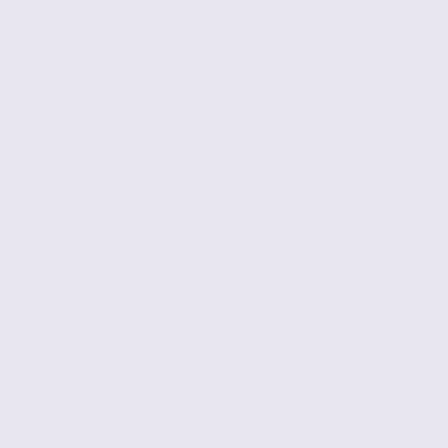group each
Reply
Bill K
Good
Reply
Anon
Thank after t circle Was t
Reply
Re
[Figure (photo): Avatar photo of a person with curly brown hair]